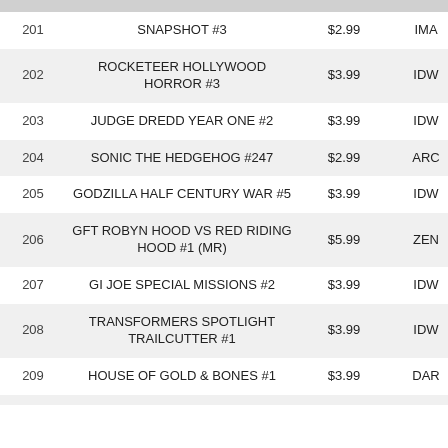| # | Title | Price | Publisher |
| --- | --- | --- | --- |
| 201 | SNAPSHOT #3 | $2.99 | IMA |
| 202 | ROCKETEER HOLLYWOOD HORROR #3 | $3.99 | IDW |
| 203 | JUDGE DREDD YEAR ONE #2 | $3.99 | IDW |
| 204 | SONIC THE HEDGEHOG #247 | $2.99 | ARC |
| 205 | GODZILLA HALF CENTURY WAR #5 | $3.99 | IDW |
| 206 | GFT ROBYN HOOD VS RED RIDING HOOD #1 (MR) | $5.99 | ZEN |
| 207 | GI JOE SPECIAL MISSIONS #2 | $3.99 | IDW |
| 208 | TRANSFORMERS SPOTLIGHT TRAILCUTTER #1 | $3.99 | IDW |
| 209 | HOUSE OF GOLD & BONES #1 | $3.99 | DAR |